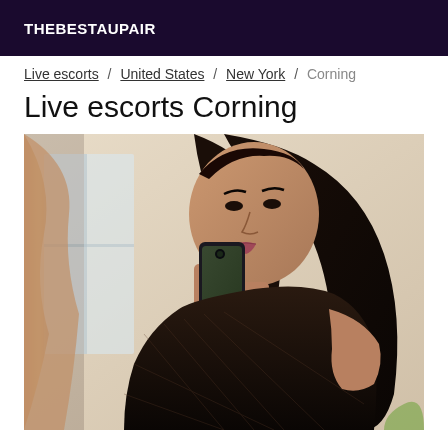THEBESTAUPAIR
Live escorts / United States / New York / Corning
Live escorts Corning
[Figure (photo): Woman with long dark hair taking a mirror selfie with a smartphone, wearing a dark mesh/lace top, hand on hip, standing near a window with pink curtains.]